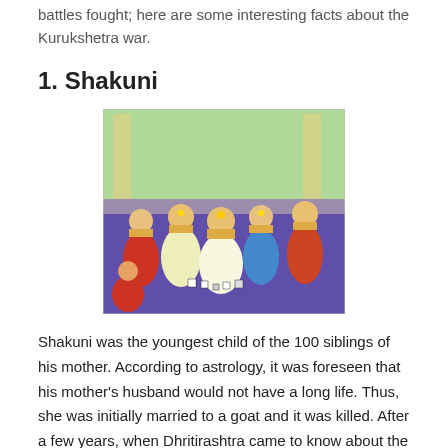battles fought; here are some interesting facts about the Kurukshetra war.
1. Shakuni
[Figure (illustration): A colorful illustrated scene showing multiple figures in traditional Indian attire seated and standing around what appears to be a dice game or court gathering, with ornate decorations and royal clothing including crowns and jewelry.]
Shakuni was the youngest child of the 100 siblings of his mother. According to astrology, it was foreseen that his mother's husband would not have a long life. Thus, she was initially married to a goat and it was killed. After a few years, when Dhritirashtra came to know about the Gandhara's family secret; he imprisoned